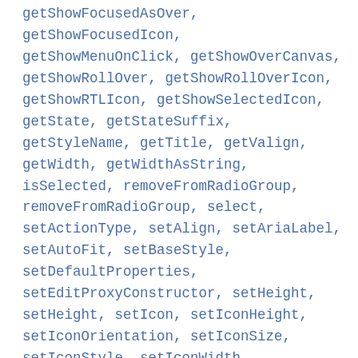getShowFocusedAsOver, getShowFocusedIcon, getShowMenuOnClick, getShowOverCanvas, getShowRollOver, getShowRollOverIcon, getShowRTLIcon, getShowSelectedIcon, getState, getStateSuffix, getStyleName, getTitle, getValign, getWidth, getWidthAsString, isSelected, removeFromRadioGroup, removeFromRadioGroup, select, setActionType, setAlign, setAriaLabel, setAutoFit, setBaseStyle, setDefaultProperties, setEditProxyConstructor, setHeight, setHeight, setIcon, setIconHeight, setIconOrientation, setIconSize, setIconStyle, setIconWidth, setLabelHPad, setLabelVPad, setLogicalStructure, setOverCanvasConstructor, setRadioGroup, setRedrawOnStateChange